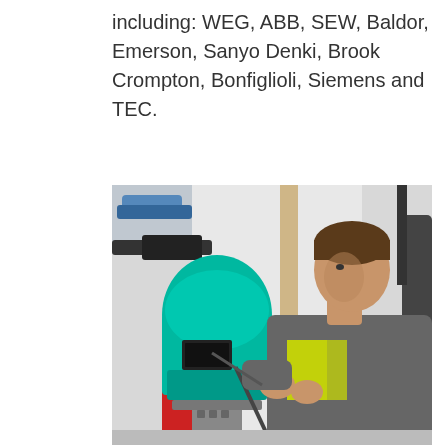including: WEG, ABB, SEW, Baldor, Emerson, Sanyo Denki, Brook Crompton, Bonfiglioli, Siemens and TEC.
[Figure (photo): A male technician in a grey work jacket wearing a yellow high-visibility vest, using a screwdriver or tool to work on a large teal/green industrial electric motor mounted on a stand, in an industrial equipment room with pipes and cables visible in the background.]